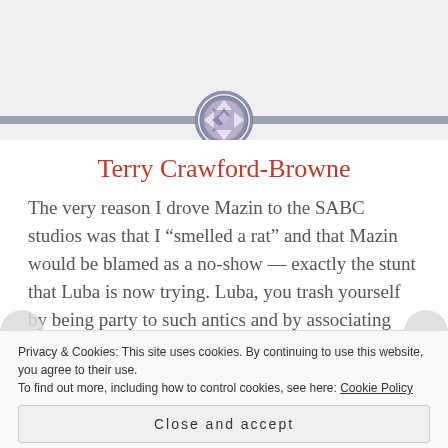[Figure (illustration): Circular geometric ornament with purple/mauve snowflake or star pattern, set on a horizontal gray bar acting as a section divider]
Terry Crawford-Browne
The very reason I drove Mazin to the SABC studios was that I “smelled a rat” and that Mazin would be blamed as a no-show — exactly the stunt that Luba is now trying. Luba, you trash yourself by being party to such antics and by associating with the Zionist lobby. Obviously you and the SAJBD backed out
Privacy & Cookies: This site uses cookies. By continuing to use this website, you agree to their use.
To find out more, including how to control cookies, see here: Cookie Policy
Close and accept
the studio at 9:45 am to ensure that if I b...